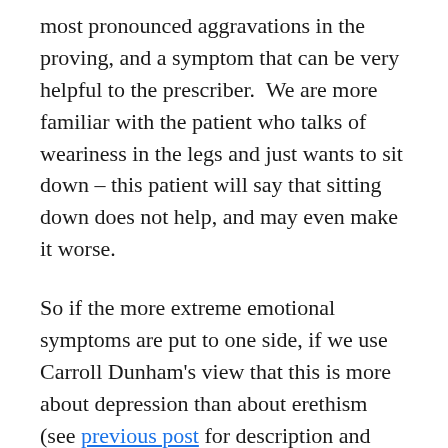most pronounced aggravations in the proving, and a symptom that can be very helpful to the prescriber.  We are more familiar with the patient who talks of weariness in the legs and just wants to sit down – this patient will say that sitting down does not help, and may even make it worse.
So if the more extreme emotional symptoms are put to one side, if we use Carroll Dunham's view that this is more about depression than about erethism (see previous post for description and definition),  the physical symptoms alone will probably lead to more frequent consideration of Platina as the